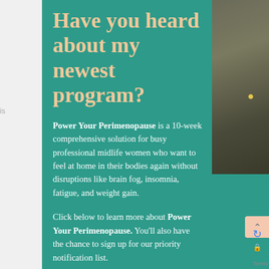Have you heard about my newest program?
Power Your Perimenopause is a 10-week comprehensive solution for busy professional midlife women who want to feel at home in their bodies again without disruptions like brain fog, insomnia, fatigue, and weight gain.
Click below to learn more about Power Your Perimenopause. You'll also have the chance to sign up for our priority notification list.
We're opening the doors soon!